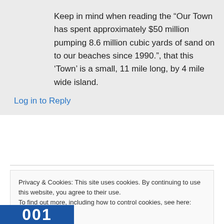Keep in mind when reading the “Our Town has spent approximately $50 million pumping 8.6 million cubic yards of sand on to our beaches since 1990.”, that this ‘Town’ is a small, 11 mile long, by 4 mile wide island.
Log in to Reply
Privacy & Cookies: This site uses cookies. By continuing to use this website, you agree to their use.
To find out more, including how to control cookies, see here: Cookie Policy
Close and accept
[Figure (photo): Partial blue image strip at bottom left, showing white text characters]